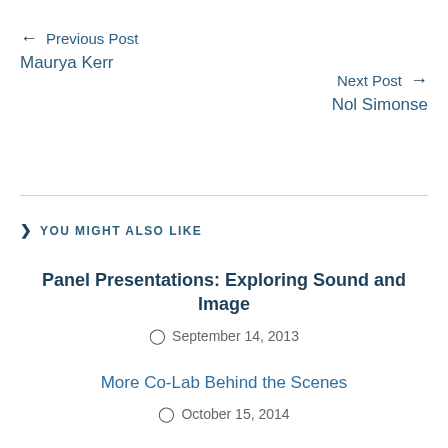← Previous Post
Maurya Kerr
Next Post →
Nol Simonse
YOU MIGHT ALSO LIKE
Panel Presentations: Exploring Sound and Image
September 14, 2013
More Co-Lab Behind the Scenes
October 15, 2014